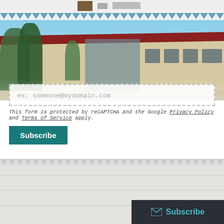[Figure (photo): Partial view of a navigation/header bar at the top with icons, followed by a building exterior photo showing a flat-roofed modern building with a dark red/maroon roof trim, beige walls, trees/shrubs in front, and a blue sky. A zigzag decorative border separates the header from the photo.]
ex: someone@mydomain.com
This form is protected by reCAPTCHA and the Google Privacy Policy and Terms of Service apply.
Subscribe
[Figure (screenshot): Bottom portion showing a light grey/white footer area with another zigzag border and a dark teal Subscribe button bar in the bottom right corner with an envelope icon and the word Subscribe.]